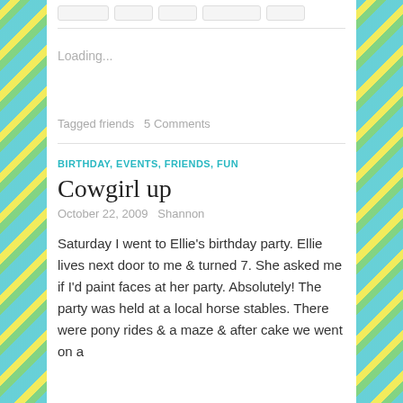Loading...
Tagged friends   5 Comments
BIRTHDAY, EVENTS, FRIENDS, FUN
Cowgirl up
October 22, 2009   Shannon
Saturday I went to Ellie's birthday party. Ellie lives next door to me & turned 7. She asked me if I'd paint faces at her party. Absolutely! The party was held at a local horse stables. There were pony rides & a maze & after cake we went on a